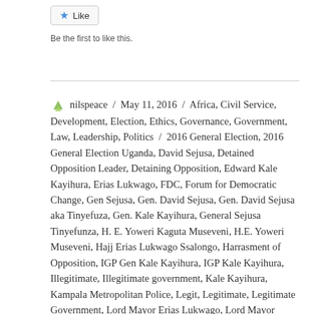[Figure (other): Like button with star icon]
Be the first to like this.
nilspeace / May 11, 2016 / Africa, Civil Service, Development, Election, Ethics, Governance, Government, Law, Leadership, Politics / 2016 General Election, 2016 General Election Uganda, David Sejusa, Detained Opposition Leader, Detaining Opposition, Edward Kale Kayihura, Erias Lukwago, FDC, Forum for Democratic Change, Gen Sejusa, Gen. David Sejusa, Gen. David Sejusa aka Tinyefuza, Gen. Kale Kayihura, General Sejusa Tinyefunza, H. E. Yoweri Kaguta Museveni, H.E. Yoweri Museveni, Hajj Erias Lukwago Ssalongo, Harrasment of Opposition, IGP Gen Kale Kayihura, IGP Kale Kayihura, Illegitimate, Illegitimate government, Kale Kayihura, Kampala Metropolitan Police, Legit, Legitimate, Legitimate Government, Lord Mayor Erias Lukwago, Lord Mayor Salongo Erias Lukwago, Lt. Gen. Yoweri Kaguta Museveni., Lukwago, National Resistance Movement, NRM, NRM Regime, Police Interfers in